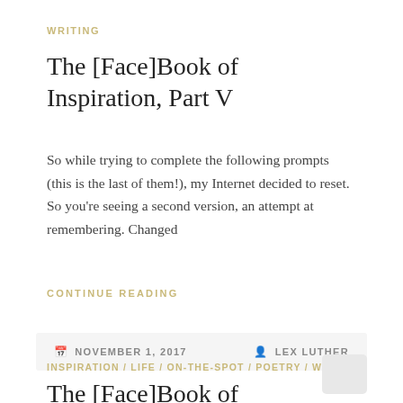WRITING
The [Face]Book of Inspiration, Part V
So while trying to complete the following prompts (this is the last of them!), my Internet decided to reset. So you're seeing a second version, an attempt at remembering. Changed
CONTINUE READING
NOVEMBER 1, 2017   LEX LUTHER
INSPIRATION / LIFE / ON-THE-SPOT / POETRY / WRITING
The [Face]Book of Inspiration, Part IV